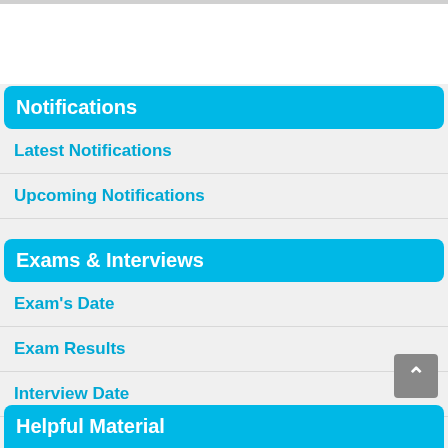Notifications
Latest Notifications
Upcoming Notifications
Exams & Interviews
Exam's Date
Exam Results
Interview Date
Interview Results
Helpful Material